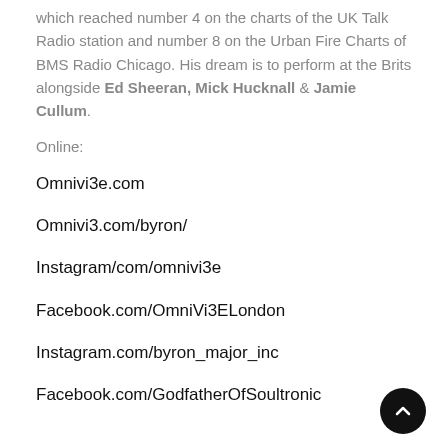which reached number 4 on the charts of the UK Talk Radio station and number 8 on the Urban Fire Charts of BMS Radio Chicago. His dream is to perform at the Brits alongside Ed Sheeran, Mick Hucknall & Jamie Cullum.
Online:
Omnivi3e.com
Omnivi3.com/byron/
Instagram/com/omnivi3e
Facebook.com/OmniVi3ELondon
Instagram.com/byron_major_inc
Facebook.com/GodfatherOfSoultronic